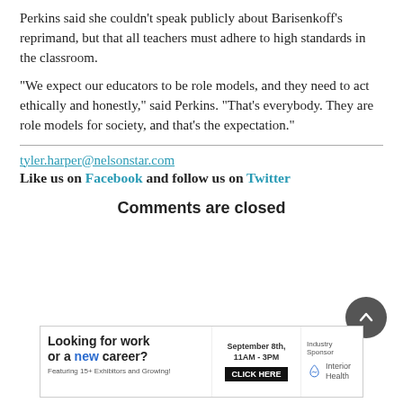Perkins said she couldn’t speak publicly about Barisenkoff’s reprimand, but that all teachers must adhere to high standards in the classroom.
“We expect our educators to be role models, and they need to act ethically and honestly,” said Perkins. “That’s everybody. They are role models for society, and that’s the expectation.”
tyler.harper@nelsonstar.com
Like us on Facebook and follow us on Twitter
Comments are closed
[Figure (infographic): Advertisement banner: Looking for work or a new career? September 8th, 11AM-3PM, Featuring 15+ Exhibitors and Growing! CLICK HERE. Industry Sponsor: Interior Health]